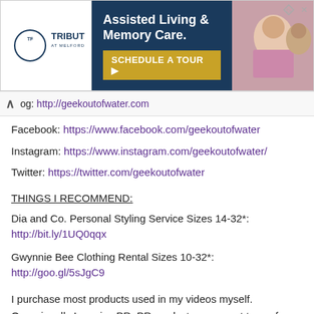[Figure (infographic): Advertisement banner for Tribute at Melford: Assisted Living & Memory Care with 'Schedule a Tour' CTA, gold and navy blue design with photo of elderly people.]
og: http://geekoutofwater.com
Facebook: https://www.facebook.com/geekoutofwater
Instagram: https://www.instagram.com/geekoutofwater/
Twitter: https://twitter.com/geekoutofwater
THINGS I RECOMMEND:
Dia and Co. Personal Styling Service Sizes 14-32*:
http://bit.ly/1UQ0qqx
Gwynnie Bee Clothing Rental Sizes 10-32*:
http://goo.gl/5sJgC9
I purchase most products used in my videos myself. Occasionally I receive PR. PR products were sent to me free of charge with no obligations to review them, unless otherwise noted. All opinions are honest and my own. Some links are